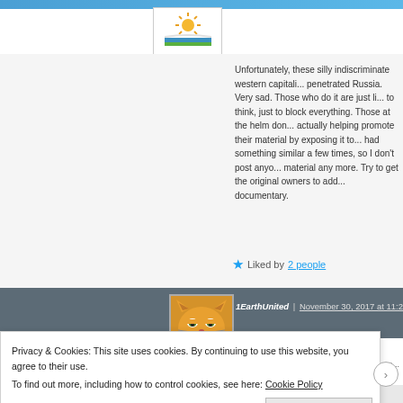[Figure (logo): Sun/book logo with orange sun rays and green/blue stripes]
Unfortunately, these silly indiscriminate western capitali... penetrated Russia. Very sad. Those who do it are just li... to think, just to block everything. Those at the helm don... actually helping promote their material by exposing it to... had something similar a few times, so I don't post anyo... material any more. Try to get the original owners to add... documentary.
Liked by 2 people
1EarthUnited | November 30, 2017 at 11:29 am
[Figure (illustration): Garfield cat cartoon avatar]
Privacy & Cookies: This site uses cookies. By continuing to use this website, you agree to their use.
To find out more, including how to control cookies, see here: Cookie Policy
Close and accept